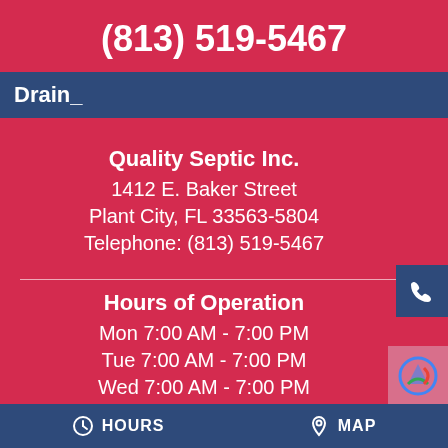(813) 519-5467
Drain_
Quality Septic Inc.
1412 E. Baker Street
Plant City, FL 33563-5804
Telephone: (813) 519-5467
Hours of Operation
Mon 7:00 AM - 7:00 PM
Tue 7:00 AM - 7:00 PM
Wed 7:00 AM - 7:00 PM
Thur 7:00 AM - 7:00 PM
Fri 7:00 AM - 7:00 PM
HOURS   MAP